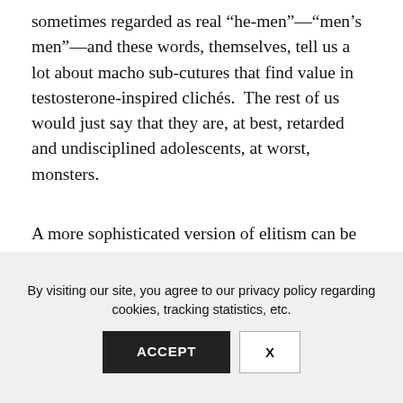sometimes regarded as real “he-men”—“men’s men”—and these words, themselves, tell us a lot about macho sub-cutures that find value in testosterone-inspired clichés.  The rest of us would just say that they are, at best, retarded and undisciplined adolescents, at worst, monsters.
A more sophisticated version of elitism can be found in Plato’s Republic—an odious book by an anti-democratic philosopher, which employs a
By visiting our site, you agree to our privacy policy regarding cookies, tracking statistics, etc.